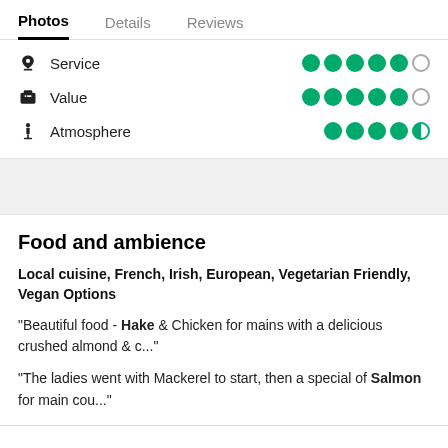Photos  Details  Reviews
Service — 4.5/5 circles
Value — 4.5/5 circles
Atmosphere — 4.5/5 circles
Food and ambience
Local cuisine, French, Irish, European, Vegetarian Friendly, Vegan Options
"Beautiful food - Hake & Chicken for mains with a delicious crushed almond & c..."
"The ladies went with Mackerel to start, then a special of Salmon for main cou..."